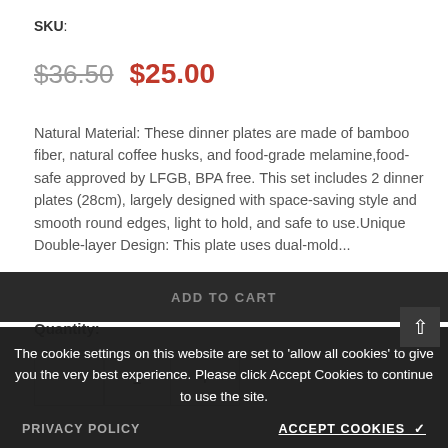SKU:
$36.50  $25.00
Natural Material: These dinner plates are made of bamboo fiber, natural coffee husks, and food-grade melamine,food-safe approved by LFGB, BPA free. This set includes 2 dinner plates (28cm), largely designed with space-saving style and smooth round edges, light to hold, and safe to use.Unique Double-layer Design: This plate uses dual-mold...
Quantity:
— 1 +
ADD TO CART
The cookie settings on this website are set to 'allow all cookies' to give you the very best experience. Please click Accept Cookies to continue to use the site.
PRIVACY POLICY
ACCEPT COOKIES ✓